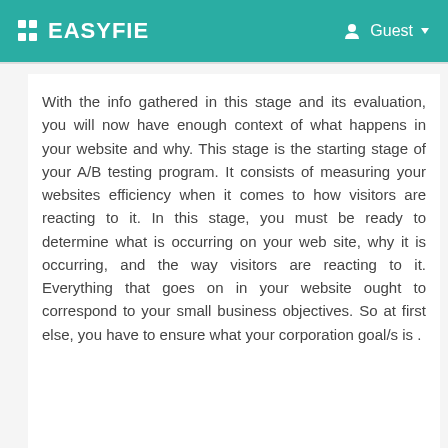EASYFIE  Guest
With the info gathered in this stage and its evaluation, you will now have enough context of what happens in your website and why. This stage is the starting stage of your A/B testing program. It consists of measuring your websites efficiency when it comes to how visitors are reacting to it. In this stage, you must be ready to determine what is occurring on your web site, why it is occurring, and the way visitors are reacting to it. Everything that goes on in your website ought to correspond to your small business objectives. So at first else, you have to ensure what your corporation goal/s is .